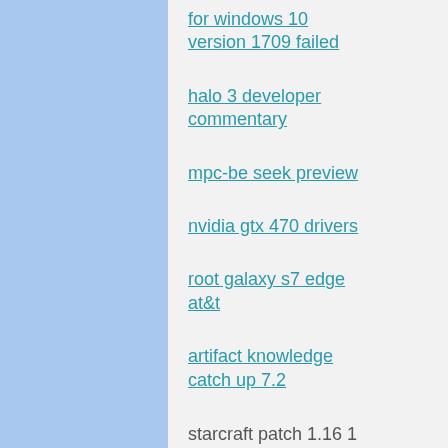for windows 10 version 1709 failed
halo 3 developer commentary
mpc-be seek preview
nvidia gtx 470 drivers
root galaxy s7 edge at&t
artifact knowledge catch up 7.2
starcraft patch 1.16 1
acer nplify 802.11b/g/n driver windows 7
nvidia nvs 295 driver
hp compaq 6710 b
mp navigator ex
mn300